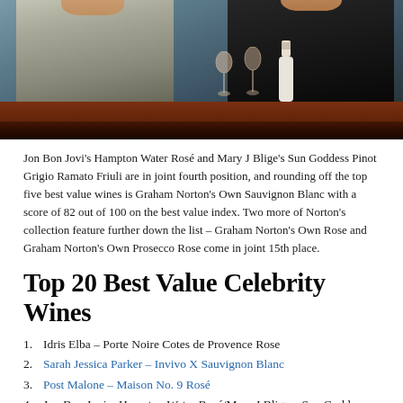[Figure (photo): Two men in suits sitting at a dark wooden table with wine glasses and a bottle of wine between them, against a blue-grey background.]
Jon Bon Jovi's Hampton Water Rosé and Mary J Blige's Sun Goddess Pinot Grigio Ramato Friuli are in joint fourth position, and rounding off the top five best value wines is Graham Norton's Own Sauvignon Blanc with a score of 82 out of 100 on the best value index. Two more of Norton's collection feature further down the list – Graham Norton's Own Rose and Graham Norton's Own Prosecco Rose come in joint 15th place.
Top 20 Best Value Celebrity Wines
1. Idris Elba – Porte Noire Cotes de Provence Rose
2. Sarah Jessica Parker – Invivo X Sauvignon Blanc
3. Post Malone – Maison No. 9 Rosé
4. Jon Bon Jovi – Hampton Water Rosé/Mary J Blige – Sun Goddess Pinot Grigio Ramato Friuli